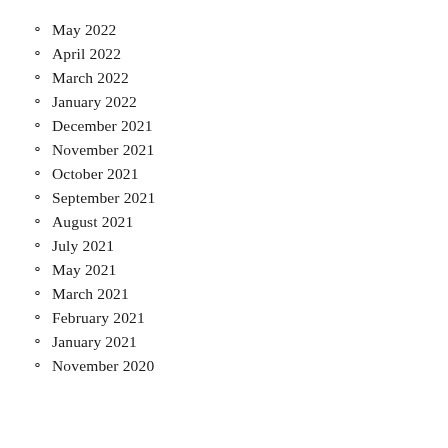May 2022
April 2022
March 2022
January 2022
December 2021
November 2021
October 2021
September 2021
August 2021
July 2021
May 2021
March 2021
February 2021
January 2021
November 2020